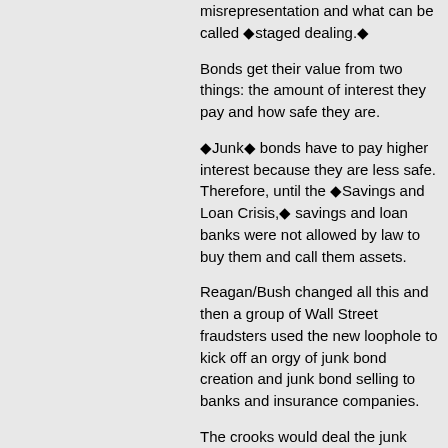misrepresentation and what can be called ◆staged dealing.◆
Bonds get their value from two things: the amount of interest they pay and how safe they are.
◆Junk◆ bonds have to pay higher interest because they are less safe. Therefore, until the ◆Savings and Loan Crisis,◆ savings and loan banks were not allowed by law to buy them and call them assets.
Reagan/Bush changed all this and then a group of Wall Street fraudsters used the new loophole to kick off an orgy of junk bond creation and junk bond selling to banks and insurance companies.
The crooks would deal the junk bonds back and forth amongst themselves, thereby establishing their ◆value◆ and then they◆d sell them to outsiders. The bonds then became ◆assets◆ which could be borrowed against and leveraged to buy even more bonds.
When the bonds failed, the banks